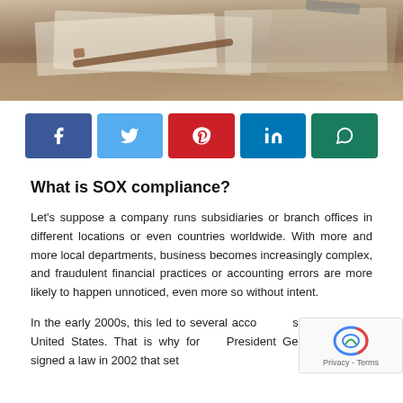[Figure (photo): Photo of documents/clipboard on a desk, top banner image]
[Figure (infographic): Social media sharing buttons: Facebook, Twitter, Pinterest, LinkedIn, WhatsApp]
What is SOX compliance?
Let's suppose a company runs subsidiaries or branch offices in different locations or even countries worldwide. With more and more local departments, business becomes increasingly complex, and fraudulent financial practices or accounting errors are more likely to happen unnoticed, even more so without intent.
In the early 2000s, this led to several accounting scandals in the United States. That is why former President George W Bush signed a law in 2002 that set